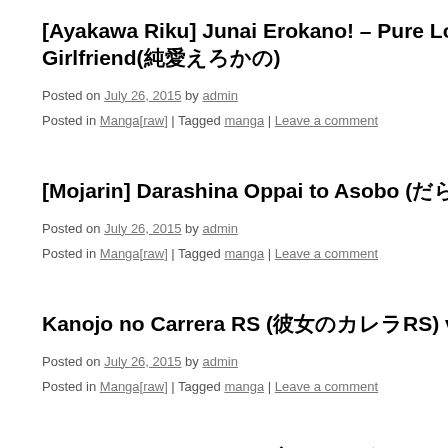[Ayakawa Riku] Junai Erokano! – Pure Lo Girlfriend(純愛えろかの)
Posted on July 26, 2015 by admin
Posted in Manga[raw] | Tagged manga | Leave a comment
[Mojarin] Darashina Oppai to Asobo (だらしな…)
Posted on July 26, 2015 by admin
Posted in Manga[raw] | Tagged manga | Leave a comment
Kanojo no Carrera RS (彼女のカレラRS) vol 01-05
Posted on July 26, 2015 by admin
Posted in Manga[raw] | Tagged manga | Leave a comment
Nozomu hitsuzen (ノゾムヒツゼン) vol 01-03